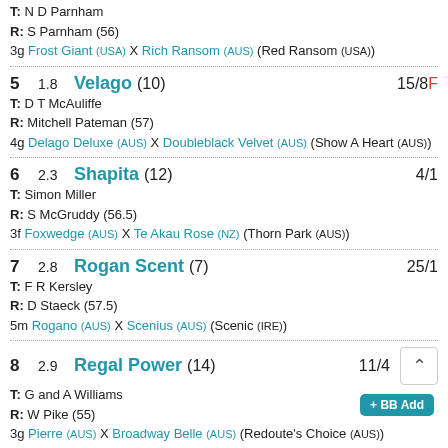T: N D Parnham
R: S Parnham (56)
3g Frost Giant (USA) X Rich Ransom (AUS) (Red Ransom (USA))
5  1.8  Velago (10)  15/8F
T: D T McAuliffe
R: Mitchell Pateman (57)
4g Delago Deluxe (AUS) X Doubleblack Velvet (AUS) (Show A Heart (AUS))
6  2.3  Shapita (12)  4/1
T: Simon Miller
R: S McGruddy (56.5)
3f Foxwedge (AUS) X Te Akau Rose (NZ) (Thorn Park (AUS))
7  2.8  Rogan Scent (7)  25/1
T: F R Kersley
R: D Staeck (57.5)
5m Rogano (AUS) X Scenius (AUS) (Scenic (IRE))
8  2.9  Regal Power (14)  11/4
T: G and A Williams
R: W Pike (55)
3g Pierre (AUS) X Broadway Belle (AUS) (Redoute's Choice (AUS))